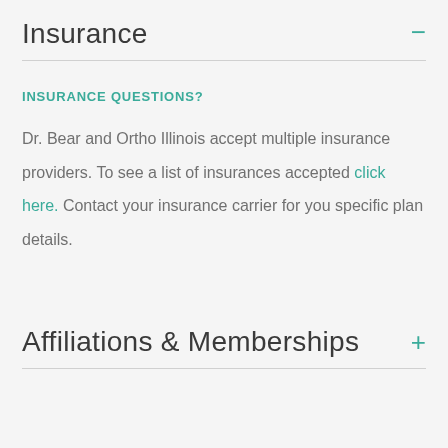Insurance
INSURANCE QUESTIONS?
Dr. Bear and Ortho Illinois accept multiple insurance providers. To see a list of insurances accepted click here. Contact your insurance carrier for you specific plan details.
Affiliations & Memberships